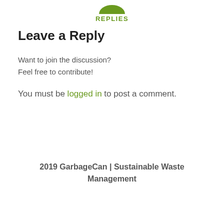[Figure (other): Green semi-circle or chat bubble icon above the REPLIES label]
REPLIES
Leave a Reply
Want to join the discussion?
Feel free to contribute!
You must be logged in to post a comment.
2019 GarbageCan | Sustainable Waste Management